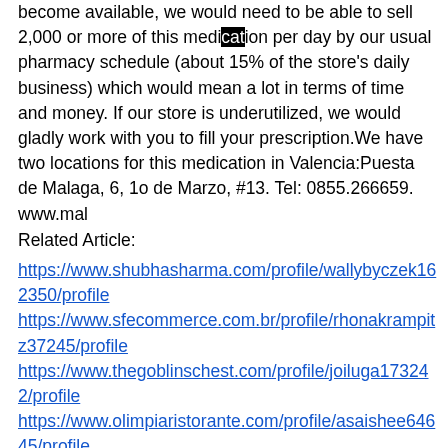become available, we would need to be able to sell 2,000 or more of this medication per day by our usual pharmacy schedule (about 15% of the store's daily business) which would mean a lot in terms of time and money. If our store is underutilized, we would gladly work with you to fill your prescription.We have two locations for this medication in Valencia:Puesta de Malaga, 6, 1o de Marzo, #13. Tel: 0855.266659. www.mal
Related Article:
https://www.shubhasharma.com/profile/wallybyczek162350/profile https://www.sfecommerce.com.br/profile/rhonakrampitz37245/profile https://www.thegoblinschest.com/profile/joiluga173242/profile https://www.olimpiaristorante.com/profile/asaishee64645/profile